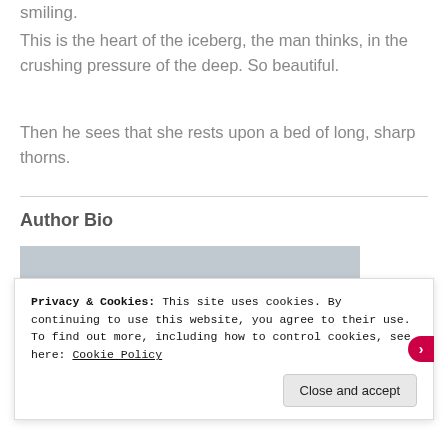smiling.
This is the heart of the iceberg, the man thinks, in the crushing pressure of the deep. So beautiful.
Then he sees that she rests upon a bed of long, sharp thorns.
Author Bio
[Figure (photo): Author photo showing top of curly hair against a light grey background]
Privacy & Cookies: This site uses cookies. By continuing to use this website, you agree to their use.
To find out more, including how to control cookies, see here: Cookie Policy